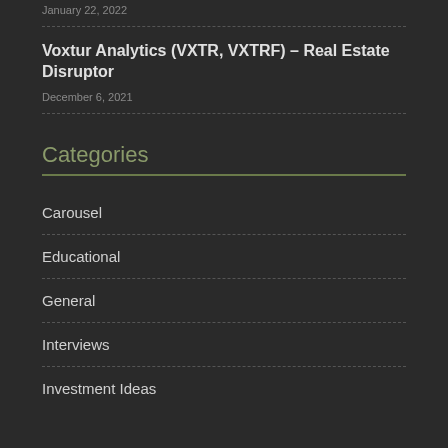January 22, 2022
Voxtur Analytics (VXTR, VXTRF) – Real Estate Disruptor
December 6, 2021
Categories
Carousel
Educational
General
Interviews
Investment Ideas